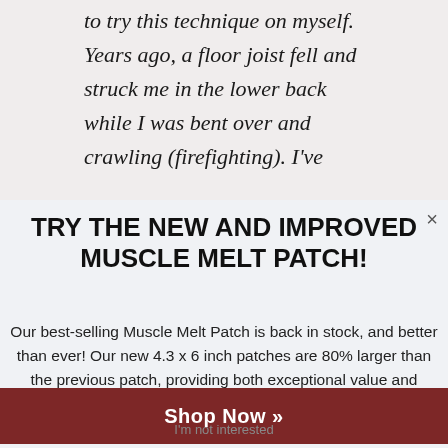to try this technique on myself. Years ago, a floor joist fell and struck me in the lower back while I was bent over and crawling (firefighting). I've
TRY THE NEW AND IMPROVED MUSCLE MELT PATCH!
Our best-selling Muscle Melt Patch is back in stock, and better than ever! Our new 4.3 x 6 inch patches are 80% larger than the previous patch, providing both exceptional value and comfort.
Shop Now »
I'm not interested